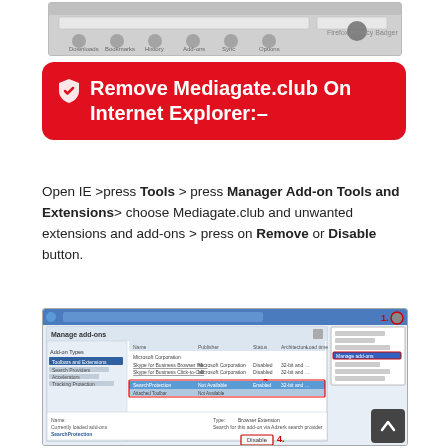[Figure (screenshot): Screenshot of a browser toolbar with download, bookmark, history, add-ons, sync, settings icons and a gear settings icon on the right]
Remove Mediagate.club On Internet Explorer:–
Open IE >press Tools > press Manager Add-on Tools and Extensions> choose Mediagate.club and unwanted extensions and add-ons > press on Remove or Disable button.
[Figure (screenshot): Screenshot of Internet Explorer Manage Add-ons dialog showing toolbar and extensions list with numbered steps 1-4: 1. gear icon, 2. Manage add-ons menu item highlighted, 3. highlighted row in extensions table, 4. Disable button with red border]